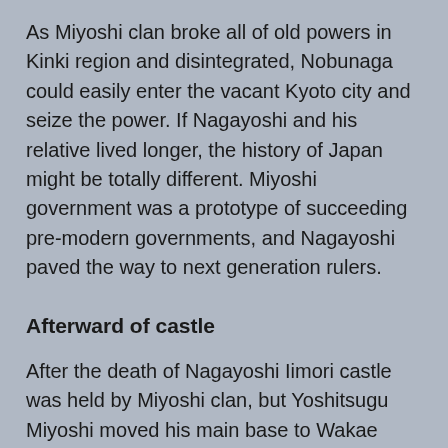As Miyoshi clan broke all of old powers in Kinki region and disintegrated, Nobunaga could easily enter the vacant Kyoto city and seize the power. If Nagayoshi and his relative lived longer, the history of Japan might be totally different. Miyoshi government was a prototype of succeeding pre-modern governments, and Nagayoshi paved the way to next generation rulers.
Afterward of castle
After the death of Nagayoshi Iimori castle was held by Miyoshi clan, but Yoshitsugu Miyoshi moved his main base to Wakae castle at the plain. After the fall of Miyoshi clan, Iimori castle might be abolished around 1575.
Now no building remain but structure of the castle well remain on the mountain with ruins of stone walls. Magnificent view of Osaka plain seen from the castle clearly shows the power of Miyoshi clan who temporally seized hegemony at this area. At the same time, Kyoto city is not clearly seen from the castle site, and this also implies the gap between